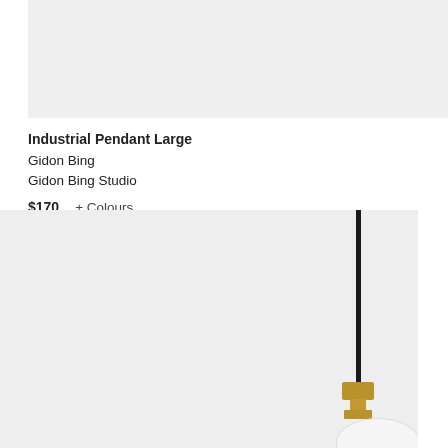[Figure (photo): Light gray rectangular placeholder image at top of page, partially cropped product photo area]
Industrial Pendant Large
Gidon Bing
Gidon Bing Studio
$170    + Colours
[Figure (photo): Partial product photo of a pendant lamp on a light gray background. A black cord descends from top-right, connecting to a brass fitting and the top of a white glass globe lamp shade visible at the bottom-right corner.]